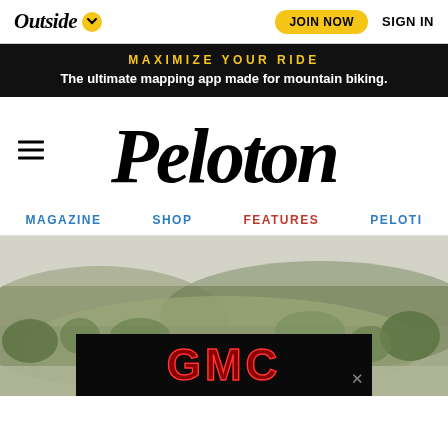Outside   JOIN NOW   SIGN IN
[Figure (screenshot): Black advertisement banner reading MAXIMIZE YOUR RIDE / The ultimate mapping app made for mountain biking.]
Peloton
MAGAZINE
SHOP
FEATURES
PELOTI
[Figure (photo): Outdoor nature/hillside scene with person visible, partially obscured. GMC advertisement banner overlaid at bottom.]